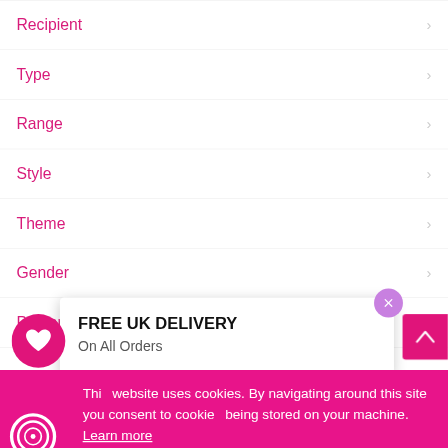Recipient
Type
Range
Style
Theme
Gender
Personalised
FREE UK DELIVERY
On All Orders
This website uses cookies. By navigating around this site you consent to cookies being stored on your machine. Learn more
I understand, hide this